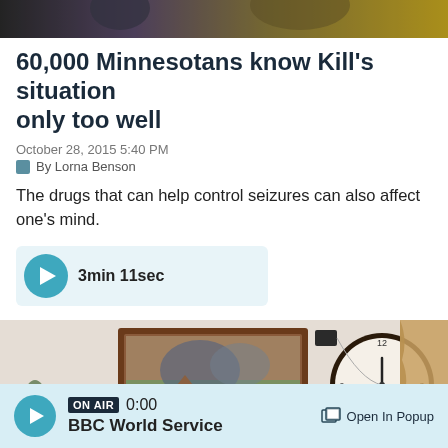[Figure (photo): Top cropped image showing people, possibly at a sporting event with purple and gold colors]
60,000 Minnesotans know Kill's situation only too well
October 28, 2015 5:40 PM
By Lorna Benson
The drugs that can help control seizures can also affect one's mind.
[Figure (other): Audio player button showing 3min 11sec duration]
[Figure (photo): Interior room photo showing a wall painting and round clock on a white wall]
ON AIR 0:00 BBC World Service  Open In Popup